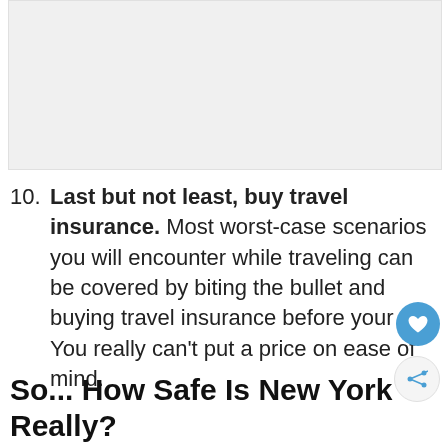[Figure (photo): Light gray placeholder image area at top of page]
10. Last but not least, buy travel insurance. Most worst-case scenarios you will encounter while traveling can be covered by biting the bullet and buying travel insurance before your trip. You really can’t put a price on ease of mind.
So... How Safe Is New York Really?